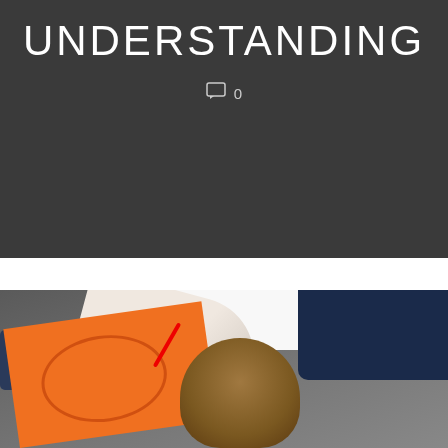UNDERSTANDING
0
[Figure (photo): Overhead view of children sitting on the floor drawing or tracing on orange paper, one child wearing white long-sleeve shirt visible, another in floral top, with brown-haired child's head visible in foreground]